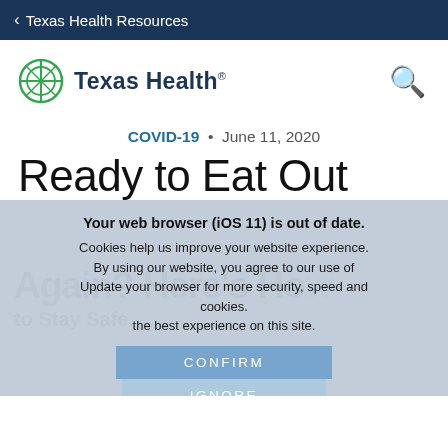Texas Health Resources
[Figure (logo): Texas Health logo with circular compass/cross icon and bold blue text 'Texas Health' with registered trademark, and a search icon on the right]
COVID-19  •  June 11, 2020
Ready to Eat Out
[Figure (screenshot): Partially visible article hero image with large gray watermark text 'Again? Here's How to Stay Safe.' overlaid with a cookie/browser warning modal. The modal contains: 'Your web browser (iOS 11) is out of date.' and 'Cookies help us improve your website experience. By using our website, you agree to our use of Update your browser for more security, speed and cookies. the best experience on this site.' with CONFIRM and IGNORE buttons.]